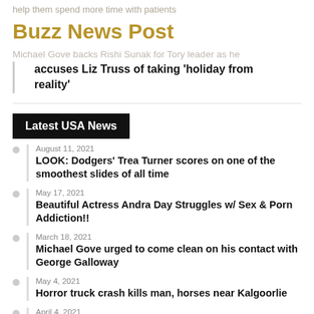help them spend more time with patients
Buzz News Post
Michael Gove backs Rishi Sunak for Tory leader as he accuses Liz Truss of taking 'holiday from reality'
Latest USA News
August 11, 2021 — LOOK: Dodgers' Trea Turner scores on one of the smoothest slides of all time
May 17, 2021 — Beautiful Actress Andra Day Struggles w/ Sex & Porn Addiction!!
March 18, 2021 — Michael Gove urged to come clean on his contact with George Galloway
May 4, 2021 — Horror truck crash kills man, horses near Kalgoorlie
April 4, 2021